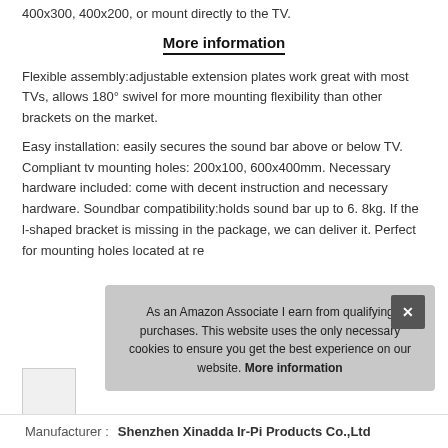400x300, 400x200, or mount directly to the TV.
More information
Flexible assembly:adjustable extension plates work great with most TVs, allows 180° swivel for more mounting flexibility than other brackets on the market.
Easy installation: easily secures the sound bar above or below TV. Compliant tv mounting holes: 200x100, 600x400mm. Necessary hardware included: come with decent instruction and necessary hardware. Soundbar compatibility:holds sound bar up to 6. 8kg. If the l-shaped bracket is missing in the package, we can deliver it. Perfect for mounting holes located at re
As an Amazon Associate I earn from qualifying purchases. This website uses the only necessary cookies to ensure you get the best experience on our website. More information
| Manufacturer |  |
| --- | --- |
| Manufacturer | Shenzhen Xinadda Ir-Pi Products Co.,Ltd |